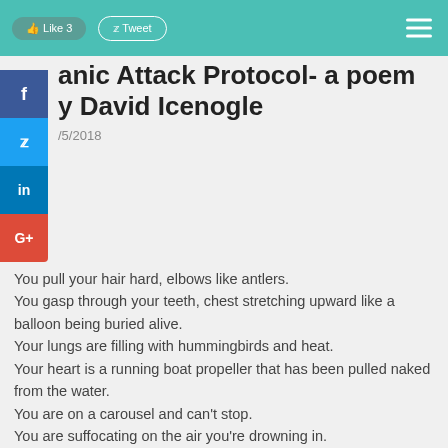Like 3   Tweet
Panic Attack Protocol- a poem by David Icenogle
/5/2018
You pull your hair hard, elbows like antlers.
You gasp through your teeth, chest stretching upward like a balloon being buried alive.
Your lungs are filling with hummingbirds and heat.
Your heart is a running boat propeller that has been pulled naked from the water.
You are on a carousel and can't stop.
You are suffocating on the air you're drowning in.
Breathe in. Through your nose.
Let that chilly wisp crawl through and caress the back of your tongue.